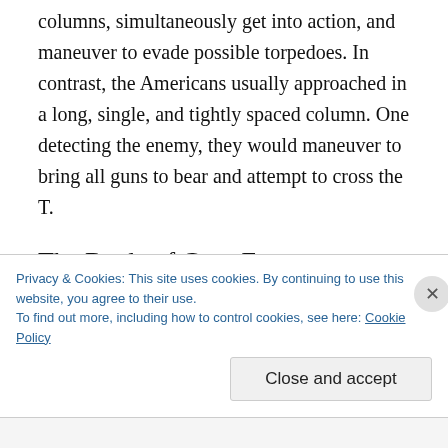columns, simultaneously get into action, and maneuver to evade possible torpedoes. In contrast, the Americans usually approached in a long, single, and tightly spaced column. One detecting the enemy, they would maneuver to bring all guns to bear and attempt to cross the T.
The Battle of Cape Esperance
The American tactics were demonstrated at the Battle of Cape Esperance on the night of 11-12
Privacy & Cookies: This site uses cookies. By continuing to use this website, you agree to their use.
To find out more, including how to control cookies, see here: Cookie Policy